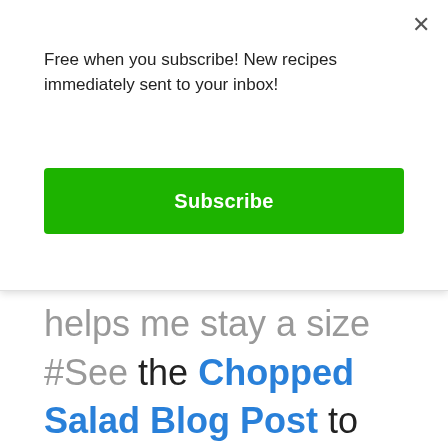Free when you subscribe! New recipes immediately sent to your inbox!
Subscribe
helps me stay a size #See the Chopped Salad Blog Post to find out how you can incorporate a chopped salad into your daily food plan and how you can get a free mezzaluna knife with your Holland Bowl order when you use our affiliate link as well as free engraving and free shipping.